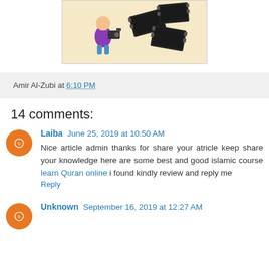[Figure (illustration): Cartoon illustration of a character with a camera surrounded by film strips, on a sandy/tan background]
Amir Al-Zubi at 6:10 PM
14 comments:
Laiba June 25, 2019 at 10:50 AM
Nice article admin thanks for share your atricle keep share your knowledge here are some best and good islamic course learn Quran online i found kindly review and reply me
Reply
Unknown September 16, 2019 at 12:27 AM